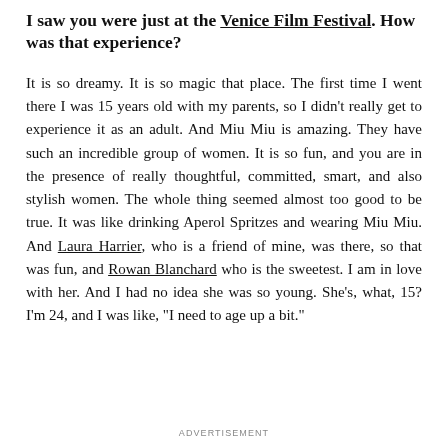I saw you were just at the Venice Film Festival. How was that experience?
It is so dreamy. It is so magic that place. The first time I went there I was 15 years old with my parents, so I didn't really get to experience it as an adult. And Miu Miu is amazing. They have such an incredible group of women. It is so fun, and you are in the presence of really thoughtful, committed, smart, and also stylish women. The whole thing seemed almost too good to be true. It was like drinking Aperol Spritzes and wearing Miu Miu. And Laura Harrier, who is a friend of mine, was there, so that was fun, and Rowan Blanchard who is the sweetest. I am in love with her. And I had no idea she was so young. She’s, what, 15? I’m 24, and I was like, “I need to age up a bit.”
ADVERTISEMENT